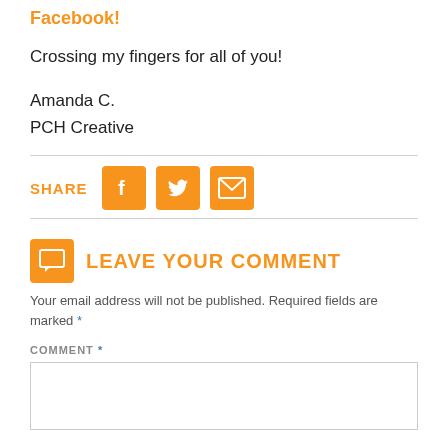Facebook!
Crossing my fingers for all of you!
Amanda C.
PCH Creative
SHARE
LEAVE YOUR COMMENT
Your email address will not be published. Required fields are marked *
COMMENT *